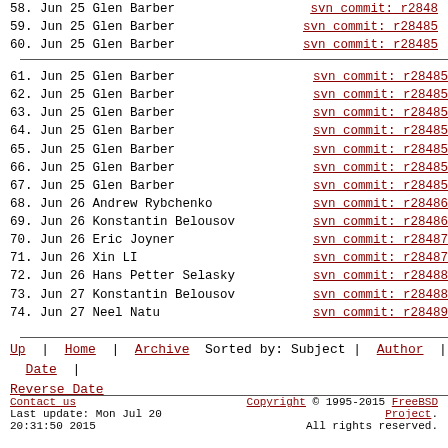58. Jun 25 Glen Barber  svn commit: r28484
59. Jun 25 Glen Barber  svn commit: r28485
60. Jun 25 Glen Barber  svn commit: r28485
61. Jun 25 Glen Barber  svn commit: r28485
62. Jun 25 Glen Barber  svn commit: r28485
63. Jun 25 Glen Barber  svn commit: r28485
64. Jun 25 Glen Barber  svn commit: r28485
65. Jun 25 Glen Barber  svn commit: r28485
66. Jun 25 Glen Barber  svn commit: r28485
67. Jun 25 Glen Barber  svn commit: r28485
68. Jun 26 Andrew Rybchenko  svn commit: r28486
69. Jun 26 Konstantin Belousov  svn commit: r28486
70. Jun 26 Eric Joyner  svn commit: r28487
71. Jun 26 Xin LI  svn commit: r28487
72. Jun 26 Hans Petter Selasky  svn commit: r28488
73. Jun 27 Konstantin Belousov  svn commit: r28488
74. Jun 27 Neel Natu  svn commit: r28489
Up | Home | Archive Sorted by: Subject | Author | Date | Reverse Date
Contact us   Copyright © 1995-2015 FreeBSD Project.  Last update: Mon Jul 20 20:31:50 2015  All rights reserved.